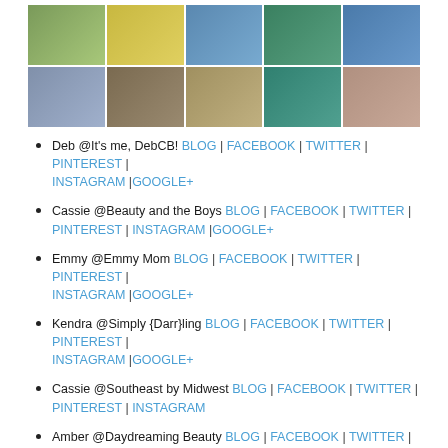[Figure (photo): A collage of two rows of photos showing food, nails, beauty products, birds, a water bottle, and a woman's face.]
Deb @It's me, DebCB! BLOG | FACEBOOK | TWITTER | PINTEREST | INSTAGRAM |GOOGLE+
Cassie @Beauty and the Boys BLOG | FACEBOOK | TWITTER | PINTEREST | INSTAGRAM |GOOGLE+
Emmy @Emmy Mom BLOG | FACEBOOK | TWITTER | PINTEREST | INSTAGRAM |GOOGLE+
Kendra @Simply {Darr}ling BLOG | FACEBOOK | TWITTER | PINTEREST | INSTAGRAM |GOOGLE+
Cassie @Southeast by Midwest BLOG | FACEBOOK | TWITTER | PINTEREST | INSTAGRAM
Amber @Daydreaming Beauty BLOG | FACEBOOK | TWITTER | PINTEREST | INSTAGRAM |GOOGLE+
Kathy @Penney Lane Kitchen BLOG | FACEBOOK | TWITTER | PINTEREST | INSTAGRAM |GOOGLE+